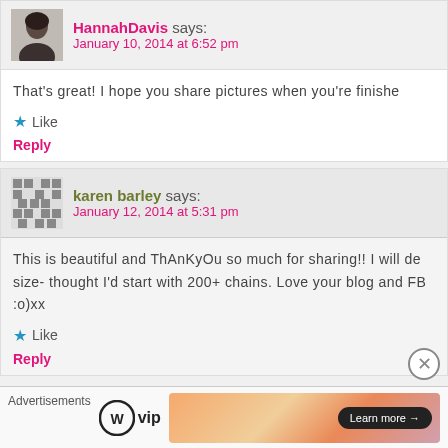HannahDavis says: January 10, 2014 at 6:52 pm
That's great! I hope you share pictures when you're finished
★ Like
Reply
karen barley says: January 12, 2014 at 5:31 pm
This is beautiful and ThAnKyOu so much for sharing!! I will de- size- thought I'd start with 200+ chains. Love your blog and FB :o)xx
★ Like
Reply
Advertisements
[Figure (logo): WordPress VIP logo and advertisement banner with Learn more button]